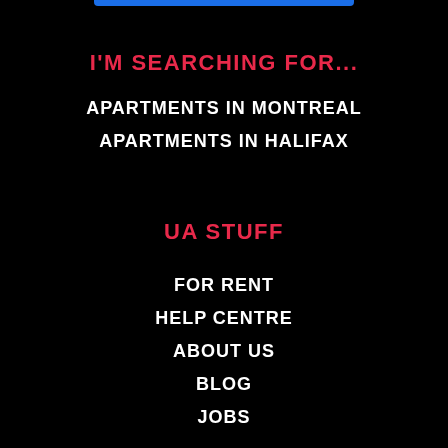I'M SEARCHING FOR...
APARTMENTS IN MONTREAL
APARTMENTS IN HALIFAX
UA STUFF
FOR RENT
HELP CENTRE
ABOUT US
BLOG
JOBS